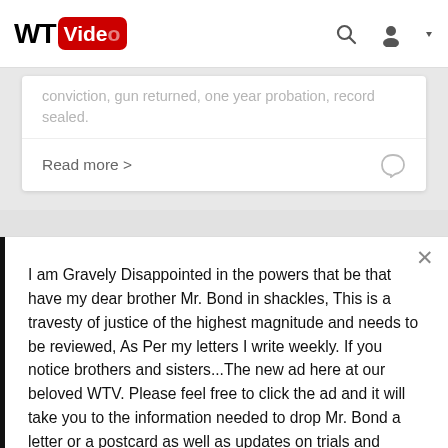WT Video
conviction, gun returned, one year probation, record sealed.
Read more >
I am Gravely Disappointed in the powers that be that have my dear brother Mr. Bond in shackles, This is a travesty of justice of the highest magnitude and needs to be reviewed, As Per my letters I write weekly. If you notice brothers and sisters...The new ad here at our beloved WTV. Please feel free to click the ad and it will take you to the information needed to drop Mr. Bond a letter or a postcard as well as updates on trials and proceedings and commisary for him. "Strength And Honor"